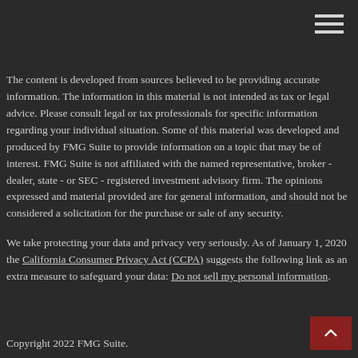[Figure (other): Hamburger menu icon (three horizontal lines) in top right corner]
The content is developed from sources believed to be providing accurate information. The information in this material is not intended as tax or legal advice. Please consult legal or tax professionals for specific information regarding your individual situation. Some of this material was developed and produced by FMG Suite to provide information on a topic that may be of interest. FMG Suite is not affiliated with the named representative, broker - dealer, state - or SEC - registered investment advisory firm. The opinions expressed and material provided are for general information, and should not be considered a solicitation for the purchase or sale of any security.
We take protecting your data and privacy very seriously. As of January 1, 2020 the California Consumer Privacy Act (CCPA) suggests the following link as an extra measure to safeguard your data: Do not sell my personal information.
Copyright 2022 FMG Suite.